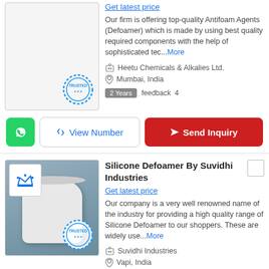Get latest price
Our firm is offering top-quality Antifoam Agents (Defoamer) which is made by using best quality required components with the help of sophisticated tec...More
Heetu Chemicals & Alkalies Ltd.
Mumbai, India
2 Years  feedback 4
View Number
Send Inquiry
[Figure (photo): Product image placeholder with Trusted stamp]
Silicone Defoamer By Suvidhi Industries
Get latest price
Our company is a very well renowned name of the industry for providing a high quality range of Silicone Defoamer to our shoppers. These are widely use...More
[Figure (photo): Photo of white silicone defoamer in a container with Trusted stamp]
Suvidhi Industries
Vapi, India